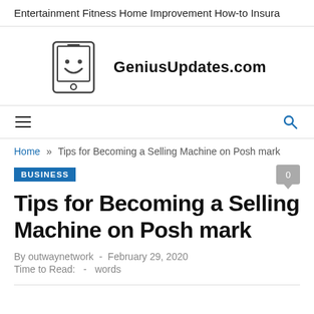Entertainment   Fitness   Home Improvement   How-to   Insura
[Figure (logo): GeniusUpdates.com logo with tablet/device icon showing a smiley face]
hamburger menu and search icon navigation bar
Home » Tips for Becoming a Selling Machine on Posh mark
BUSINESS
Tips for Becoming a Selling Machine on Posh mark
By outwaynetwork  -  February 29, 2020
Time to Read:   -   words